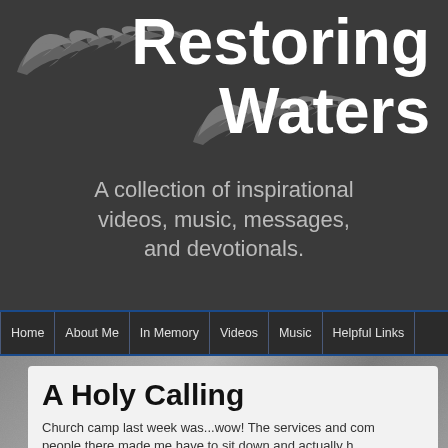[Figure (logo): Website header banner with dark gray background, flame/tribal decorative graphics, and site title 'Restoring Waters']
Restoring Waters
A collection of inspirational videos, music, messages, and devotionals.
Home | About Me | In Memory | Videos | Music | Helpful Links
A Holy Calling
Church camp last week was...wow! The services and com people there made me have to sit down and actually h